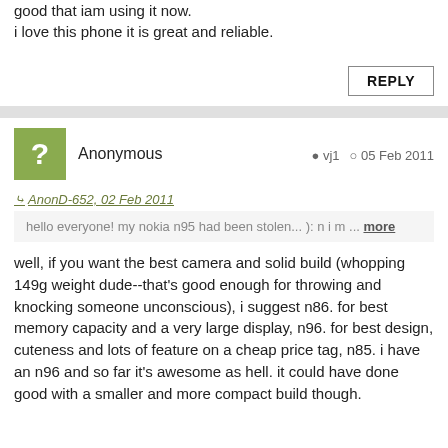no problems. i just got her a standing china. but the nokia n95 is so good that iam using it now.
i love this phone it is great and reliable.
REPLY
Anonymous   vj1   05 Feb 2011
AnonD-652, 02 Feb 2011
hello everyone! my nokia n95 had been stolen... ): n i m ... more
well, if you want the best camera and solid build (whopping 149g weight dude--that's good enough for throwing and knocking someone unconscious), i suggest n86. for best memory capacity and a very large display, n96. for best design, cuteness and lots of feature on a cheap price tag, n85. i have an n96 and so far it's awesome as hell. it could have done good with a smaller and more compact build though.